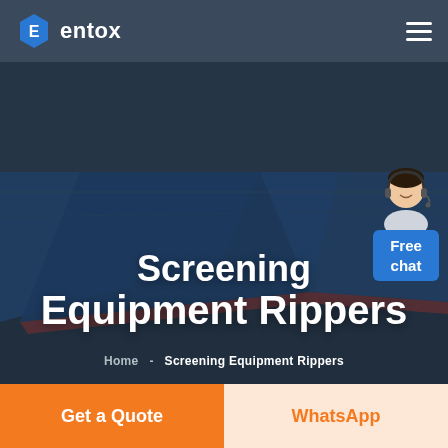[Figure (logo): Entox logo with hexagon icon and white text on dark navy navbar]
[Figure (photo): Aerial view of industrial warehouse complex with blue roofs, overlaid with dark tint. Shows 'Screening Equipment Rippers' hero headline and breadcrumb navigation. A customer service agent avatar with 'Free chat' bubble is on the right side.]
Screening Equipment Rippers
Home  -  Screening Equipment Rippers
Get a Quote
WhatsApp